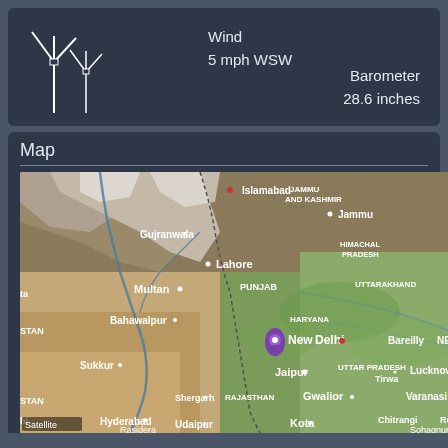[Figure (other): Wind turbine icons (white line drawing of two wind turbines)]
Wind
5 mph WSW
Barometer
28.6 inches
Map
[Figure (map): Satellite map centered on New Delhi, India showing surrounding region including Islamabad, Gujranwala, Jammu, Lahore, Multan, Punjab, Himachal Pradesh, Uttarakhand, Bahawalpur, Sukkur, Jaipur, Uttar Pradesh, Lucknow, Gwalior, Varanasi, Udaipur, Kota, Hyderabad, Shergarh, Rajasthan, Bareilly, Nepal, with a purple location pin on New Delhi. A 'Satellite' label is visible in the bottom-left corner.]